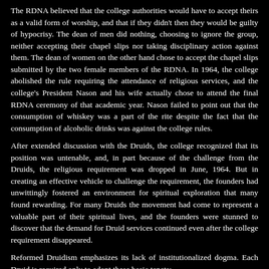The RDNA believed that the college authorities would have to accept theirs as a valid form of worship, and that if they didn't then they would be guilty of hypocrisy. The dean of men did nothing, choosing to ignore the group, neither accepting their chapel slips nor taking disciplinary action against them. The dean of women on the other hand chose to accept the chapel slips submitted by the two female members of the RDNA. In 1964, the college abolished the rule requiring the attendance of religious services, and the college's President Nason and his wife actually chose to attend the final RDNA ceremony of that academic year. Nason failed to point out that the consumption of whiskey was a part of the rite despite the fact that the consumption of alcoholic drinks was against the college rules.
After extended discussion with the Druids, the college recognized that its position was untenable, and, in part because of the challenge from the Druids, the religious requirement was dropped in June, 1964. But in creating an effective vehicle to challenge the requirement, the founders had unwittingly fostered an environment for spiritual exploration that many found rewarding. For many Druids the movement had come to represent a valuable part of their spiritual lives, and the founders were stunned to discover that the demand for Druid services continued even after the college requirement disappeared.
Reformed Druidism emphasizes its lack of institutionalized dogma. Each Druid is required only to adopt these basic tenets:
One of the many ways in which the object of Man's search for religious truth can be found is through Nature.
Nature, being one of the primary concerns in Man's life and struggle, and being one of the objects of Creation, is important to Man's spiritual quests.
The original group were not Neo-Pagan -- most identified themselves as